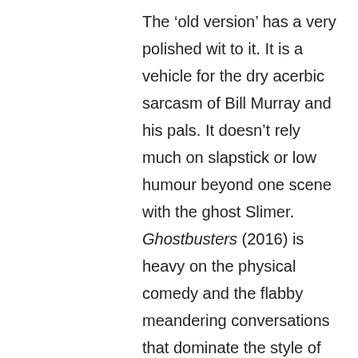The 'old version' has a very polished wit to it. It is a vehicle for the dry acerbic sarcasm of Bill Murray and his pals. It doesn't rely much on slapstick or low humour beyond one scene with the ghost Slimer. Ghostbusters (2016) is heavy on the physical comedy and the flabby meandering conversations that dominate the style of this improvisation-led generation of comic actors. Is physical comedy an essentially lower form of comedy than sarcastic quips? By no means, but the stars of Ghostbusters (2016) are no Buster